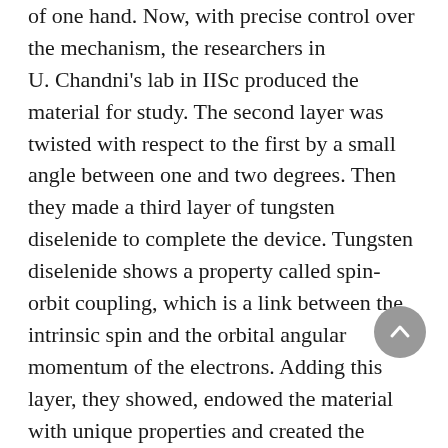of one hand. Now, with precise control over the mechanism, the researchers in U. Chandni's lab in IISc produced the material for study. The second layer was twisted with respect to the first by a small angle between one and two degrees. Then they made a third layer of tungsten diselenide to complete the device. Tungsten diselenide shows a property called spin-orbit coupling, which is a link between the intrinsic spin and the orbital angular momentum of the electrons. Adding this layer, they showed, endowed the material with unique properties and created the charge density wave states.
“Normally in a conductor, the charge carriers, for example electrons, are free to move anywhere in the conductor. But here, some areas are restricted and the electrons can move only in the allowed regions,” says Arindam Ghosh from IISc and one of the authors of the paper. “Just like there are variations in particle density in a sound wave, these states have a wave-like variation in